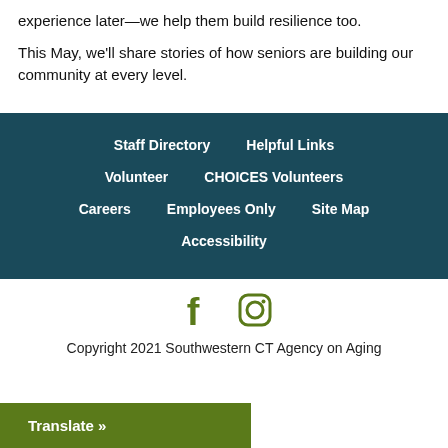experience later—we help them build resilience too.
This May, we'll share stories of how seniors are building our community at every level.
Staff Directory | Helpful Links | Volunteer | CHOICES Volunteers | Careers | Employees Only | Site Map | Accessibility
[Figure (infographic): Facebook and Instagram social media icons]
Copyright 2021 Southwestern CT Agency on Aging
Translate »